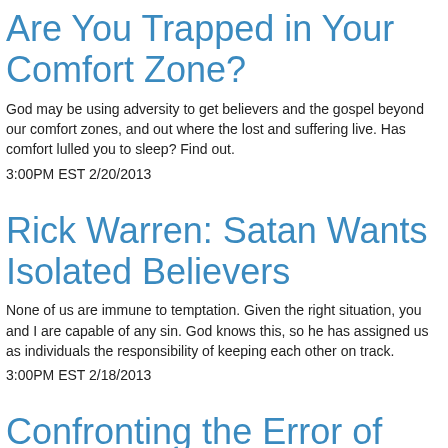Are You Trapped in Your Comfort Zone?
God may be using adversity to get believers and the gospel beyond our comfort zones, and out where the lost and suffering live. Has comfort lulled you to sleep? Find out.
3:00PM EST 2/20/2013
Rick Warren: Satan Wants Isolated Believers
None of us are immune to temptation. Given the right situation, you and I are capable of any sin. God knows this, so he has assigned us as individuals the responsibility of keeping each other on track.
3:00PM EST 2/18/2013
Confronting the Error of